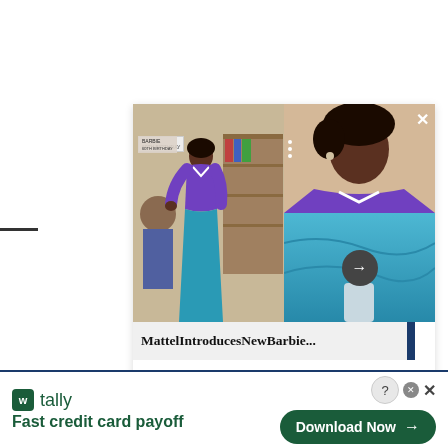[Figure (screenshot): A screenshot of a news article card showing a Barbie doll wearing a purple top and teal/blue long dress, displayed in a two-column image grid. The left panel shows the full doll, top-right shows a close-up of a Black Barbie doll's face and upper body, and bottom-right shows teal fabric detail with a navigation arrow button. An X close button appears in the top-right corner. Three white dots appear as a menu icon.]
MattelIntroducesNewBarbie...
[Figure (screenshot): An advertisement banner for Tally app at the bottom of the page. Shows the Tally logo (green square with W icon), tally brand name, tagline 'Fast credit card payoff', a 'Download Now' button with arrow, and close/info icons.]